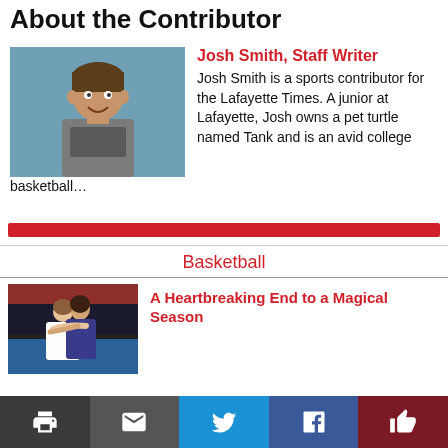About the Contributor
Josh Smith, Staff Writer
Josh Smith is a sports contributor for the Lafayette Times. A junior at Lafayette, Josh owns a pet turtle named Tank and is an avid college basketball…
[Figure (photo): Photo of Josh Smith, a young man smiling, standing against a blue-gray wall]
Basketball
[Figure (photo): Photo of basketball players hugging or consoling each other]
A Heartbreaking End to a Magical Season